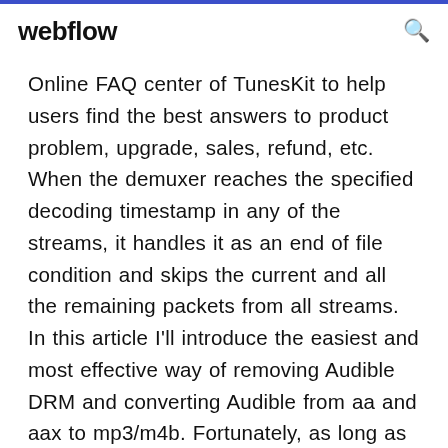webflow
Online FAQ center of TunesKit to help users find the best answers to product problem, upgrade, sales, refund, etc. When the demuxer reaches the specified decoding timestamp in any of the streams, it handles it as an end of file condition and skips the current and all the remaining packets from all streams. In this article I'll introduce the easiest and most effective way of removing Audible DRM and converting Audible from aa and aax to mp3/m4b. Fortunately, as long as you don't download Audible Books through Audible App for Android, you can still get AAX/AA files. By default, the downloaded audible books will be in .aa or .aax format depends on the methods and the formats you